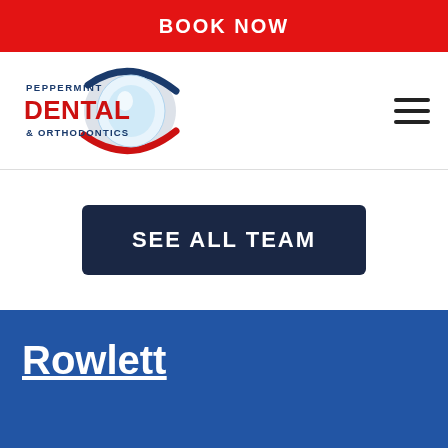BOOK NOW
[Figure (logo): Peppermint Dental & Orthodontics logo with blue tooth graphic and red/blue text]
SEE ALL TEAM
Rowlett